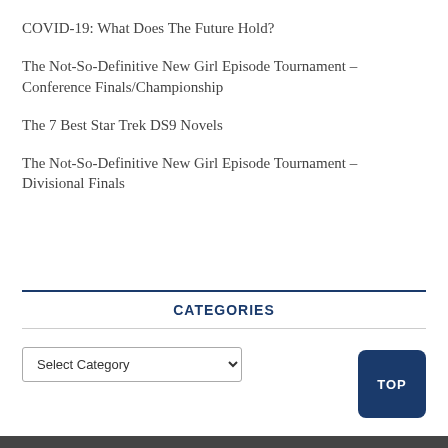COVID-19: What Does The Future Hold?
The Not-So-Definitive New Girl Episode Tournament – Conference Finals/Championship
The 7 Best Star Trek DS9 Novels
The Not-So-Definitive New Girl Episode Tournament – Divisional Finals
CATEGORIES
Select Category